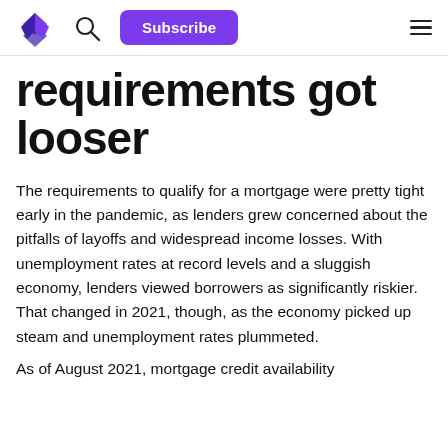Subscribe
requirements got looser
The requirements to qualify for a mortgage were pretty tight early in the pandemic, as lenders grew concerned about the pitfalls of layoffs and widespread income losses. With unemployment rates at record levels and a sluggish economy, lenders viewed borrowers as significantly riskier. That changed in 2021, though, as the economy picked up steam and unemployment rates plummeted.
As of August 2021, mortgage credit availability